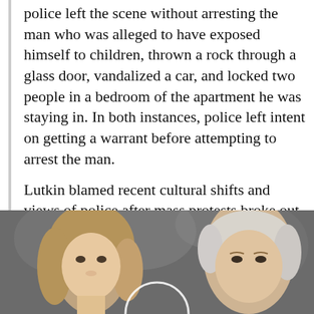police left the scene without arresting the man who was alleged to have exposed himself to children, thrown a rock through a glass door, vandalized a car, and locked two people in a bedroom of the apartment he was staying in. In both instances, police left intent on getting a warrant before attempting to arrest the man.
Lutkin blamed recent cultural shifts and views of police after mass protests broke out over the death of George Floyd in May.
The police just say they are doing what the public wants and if the public doesn't like it, they should do something about it.
[Figure (photo): Photo showing two people — a woman with long brown hair on the left and a man with silver/white hair on the right, appearing to be at a public event.]